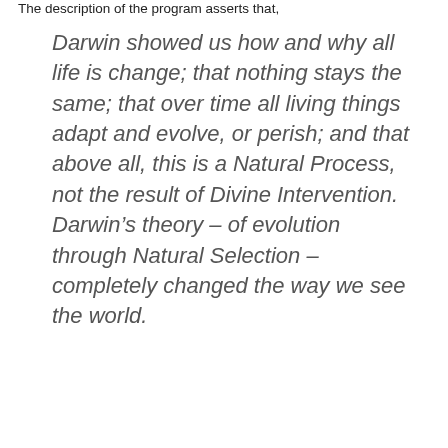The description of the program asserts that,
Darwin showed us how and why all life is change; that nothing stays the same; that over time all living things adapt and evolve, or perish; and that above all, this is a Natural Process, not the result of Divine Intervention. Darwin’s theory – of evolution through Natural Selection – completely changed the way we see the world.